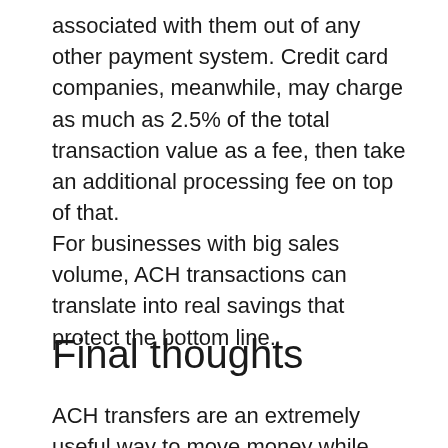associated with them out of any other payment system. Credit card companies, meanwhile, may charge as much as 2.5% of the total transaction value as a fee, then take an additional processing fee on top of that.
For businesses with big sales volume, ACH transactions can translate into real savings that protect the bottom line.
Final thoughts
ACH transfers are an extremely useful way to move money while avoiding the service...